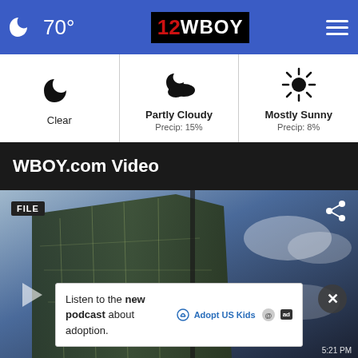70° 12WBOY
[Figure (screenshot): Weather forecast strip showing three conditions: Clear, Partly Cloudy (Precip: 15%), Mostly Sunny (Precip: 8%)]
WBOY.com Video
[Figure (screenshot): Video thumbnail showing a building exterior against a blue sky with FILE badge, share icon, close button, play button, and an advertisement banner at the bottom reading 'Listen to the new podcast about adoption.' with Adopt US Kids logo and ad badge]
Listen to the new podcast about adoption.